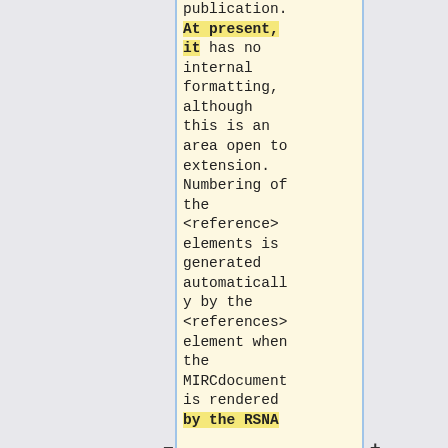publication. At present, it has no internal formatting, although this is an area open to extension. Numbering of the <reference> elements is generated automatically by the <references> element when the MIRCdocument is rendered by the RSNA